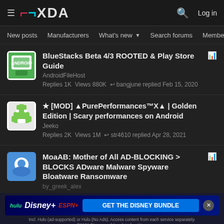≡ XDA | 🔍 Log in
New posts  Manufacturers  What's new ▾  Search forums  Membe  >
BlueStacks Beta 4/3 ROOTED & Play Store Guide
AndroidFileHost
Replies 1K  Views 880K  ↩ bangjune replied Feb 15, 2020
★ [MOD] ▲PurePerformances™X▲ | Golden Edition | Scary performances on Android
Jeeko
Replies 2K  Views 1M  ↩ str4610 replied Apr 28, 2021
MoaAB: Mother of All AD-BLOCKING > BLOCKS ADware Malware Spyware Bloatware Ransomware
by_greek_alex
[Figure (screenshot): Advertisement banner for Disney Bundle (Hulu, Disney+, ESPN+) with GET THE DISNEY BUNDLE call to action]
[MOD][SCRIPT][TWEAKS][Fly-On Mod&#83533;V5.0
AlphaS/Feel The Smoothness!!! 1.1/3B+
Incl. Hulu (ad-supported) or Hulu (No Ads). Access content from each service separately. ©2021 Disney and its related entities.